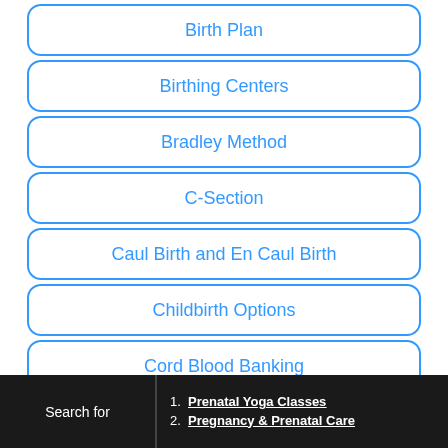Birth Plan
Birthing Centers
Bradley Method
C-Section
Caul Birth and En Caul Birth
Childbirth Options
Cord Blood Banking
Epidural
Search for
1. Prenatal Yoga Classes
2. Pregnancy & Prenatal Care